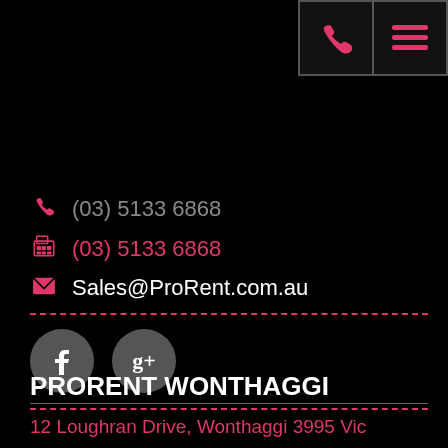[Figure (infographic): Top-right navigation bar with phone icon and hamburger menu icon in pink on dark background]
(03) 5133 6868 (phone)
(03) 5133 6868 (fax)
Sales@ProRent.com.au
[Figure (infographic): Facebook and Google+ social media icons as circular grey buttons]
PRORENT WONTHAGGI
12 Loughran Drive, Wonthaggi 3995 Vic